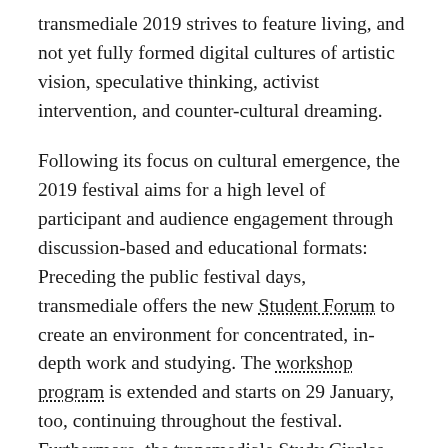transmediale 2019 strives to feature living, and not yet fully formed digital cultures of artistic vision, speculative thinking, activist intervention, and counter-cultural dreaming.
Following its focus on cultural emergence, the 2019 festival aims for a high level of participant and audience engagement through discussion-based and educational formats: Preceding the public festival days, transmediale offers the new Student Forum to create an environment for concentrated, in-depth work and studying. The workshop program is extended and starts on 29 January, too, continuing throughout the festival. Furthermore, the transmediale Study Circles are integrated across the program, zooming in on specific aspects of the festival theme. The Study Circles Affective Infrastructures and Uneasy Alliances consist of